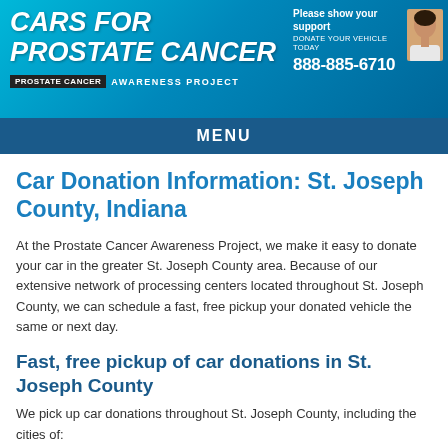CARS FOR PROSTATE CANCER — PROSTATE CANCER AWARENESS PROJECT — Please show your support DONATE YOUR VEHICLE TODAY 888-885-6710
MENU
Car Donation Information: St. Joseph County, Indiana
At the Prostate Cancer Awareness Project, we make it easy to donate your car in the greater St. Joseph County area. Because of our extensive network of processing centers located throughout St. Joseph County, we can schedule a fast, free pickup your donated vehicle the same or next day.
Fast, free pickup of car donations in St. Joseph County
We pick up car donations throughout St. Joseph County, including the cities of: